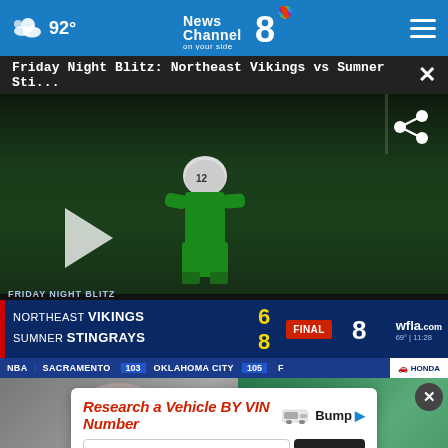92° News Channel 8 on your side
Friday Night Blitz: Northeast Vikings vs Sumner Sti...
[Figure (screenshot): Football player in green uniform on field at night, Friday Night Blitz game video player showing Northeast Vikings 6 vs Sumner Stingrays 8, FINAL. NBA ticker: Sacramento 103 Oklahoma City 105 F. wfla.com logo. Share icon overlay. Play button overlay.]
[Figure (photo): Bottom split view: left shows person's head/shoulders, right shows weather radar map in green tones]
Research a Vehicle BY VIN Number  Bump  Enter a VIN  Search